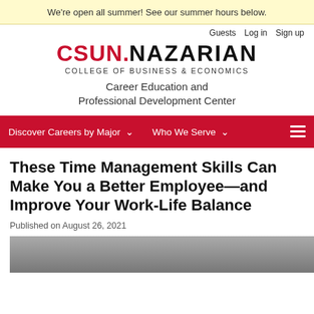We're open all summer! See our summer hours below.
Guests   Log in   Sign up
CSUN. NAZARIAN
COLLEGE OF BUSINESS & ECONOMICS
Career Education and Professional Development Center
Discover Careers by Major   Who We Serve
These Time Management Skills Can Make You a Better Employee—and Improve Your Work-Life Balance
Published on August 26, 2021
[Figure (photo): Partial view of a person, bottom of article header image]